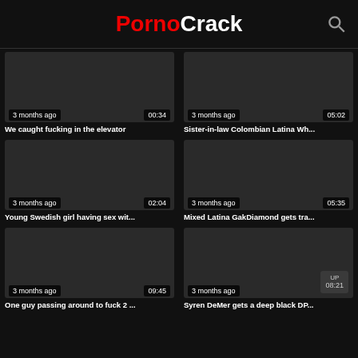PornoCrack
[Figure (screenshot): Video thumbnail - dark, 3 months ago, 00:34]
We caught fucking in the elevator
[Figure (screenshot): Video thumbnail - dark, 3 months ago, 05:02]
Sister-in-law Colombian Latina Wh...
[Figure (screenshot): Video thumbnail - dark, 3 months ago, 02:04]
Young Swedish girl having sex wit...
[Figure (screenshot): Video thumbnail - dark, 3 months ago, 05:35]
Mixed Latina GakDiamond gets tra...
[Figure (screenshot): Video thumbnail - dark, 3 months ago, 09:45]
One guy passing around to fuck 2 ...
[Figure (screenshot): Video thumbnail - dark, 3 months ago, UP 08:21]
Syren DeMer gets a deep black DP...